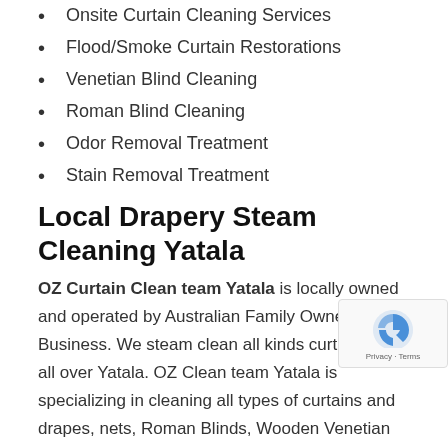Onsite Curtain Cleaning Services
Flood/Smoke Curtain Restorations
Venetian Blind Cleaning
Roman Blind Cleaning
Odor Removal Treatment
Stain Removal Treatment
Local Drapery Steam Cleaning Yatala
OZ Curtain Clean team Yatala is locally owned and operated by Australian Family Owned Business. We steam clean all kinds curtains from all over Yatala. OZ Clean team Yatala is specializing in cleaning all types of curtains and drapes, nets, Roman Blinds, Wooden Venetian Blinds etc.
Curtains are most important for interior decoration in homes and offices. On the same time cleaning Curtains and